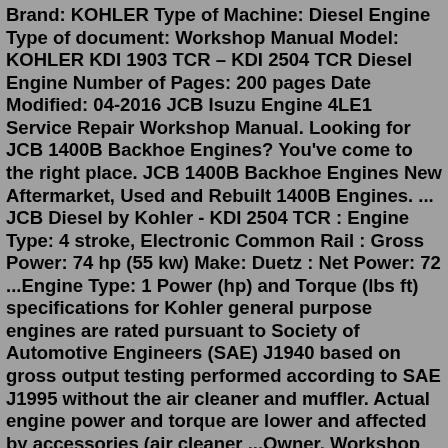Brand: KOHLER Type of Machine: Diesel Engine Type of document: Workshop Manual Model: KOHLER KDI 1903 TCR – KDI 2504 TCR Diesel Engine Number of Pages: 200 pages Date Modified: 04-2016 JCB Isuzu Engine 4LE1 Service Repair Workshop Manual. Looking for JCB 1400B Backhoe Engines? You've come to the right place. JCB 1400B Backhoe Engines New Aftermarket, Used and Rebuilt 1400B Engines. ... JCB Diesel by Kohler - KDI 2504 TCR : Engine Type: 4 stroke, Electronic Common Rail : Gross Power: 74 hp (55 kw) Make: Duetz : Net Power: 72 ...Engine Type: 1 Power (hp) and Torque (lbs ft) specifications for Kohler general purpose engines are rated pursuant to Society of Automotive Engineers (SAE) J1940 based on gross output testing performed according to SAE J1995 without the air cleaner and muffler. Actual engine power and torque are lower and affected by accessories (air cleaner ...Owner, Workshop and Parts Manuals are important documents that should be part of every vessel's library. They contain the detailed information